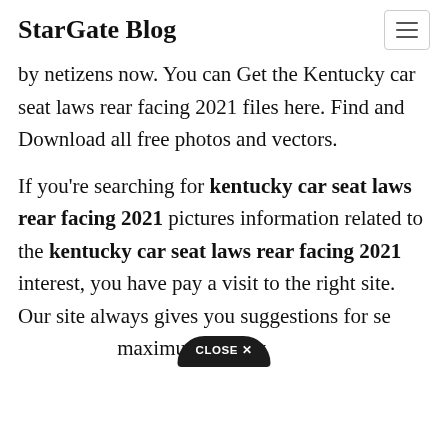StarGate Blog
by netizens now. You can Get the Kentucky car seat laws rear facing 2021 files here. Find and Download all free photos and vectors.
If you're searching for kentucky car seat laws rear facing 2021 pictures information related to the kentucky car seat laws rear facing 2021 interest, you have pay a visit to the right site. Our site always gives you suggestions for se maximum quality